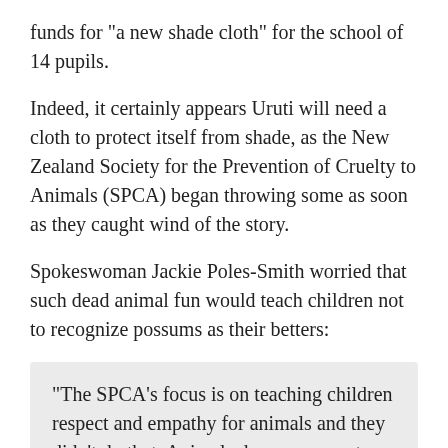funds for "a new shade cloth" for the school of 14 pupils.
Indeed, it certainly appears Uruti will need a cloth to protect itself from shade, as the New Zealand Society for the Prevention of Cruelty to Animals (SPCA) began throwing some as soon as they caught wind of the story.
Spokeswoman Jackie Poles-Smith worried that such dead animal fun would teach children not to recognize possums as their betters:
"The SPCA's focus is on teaching children respect and empathy for animals and they didn't do that. Animals deserve respect even after death."